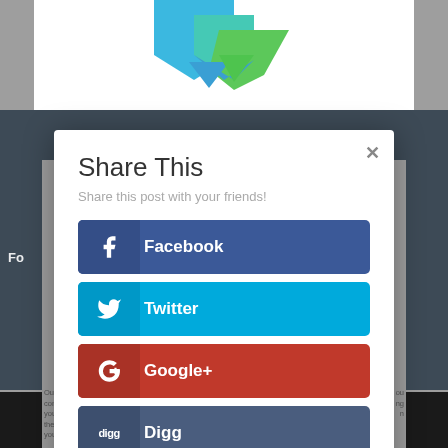[Figure (screenshot): Website screenshot background showing logo area, dark navigation banner, and partial text]
Share This
Share this post with your friends!
Facebook
Twitter
Google+
Digg
Pinterest
reddit